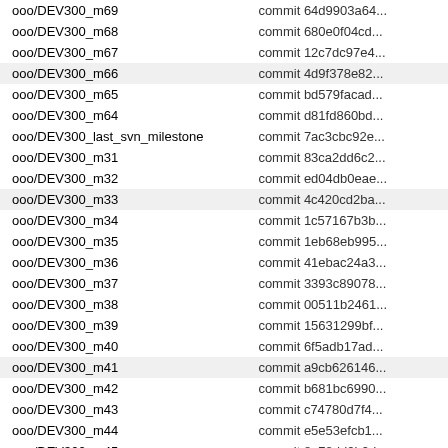| ooo/DEV300_m69 | commit 64d9903a64... |
| ooo/DEV300_m68 | commit 680e0f04cd... |
| ooo/DEV300_m67 | commit 12c7dc97e4... |
| ooo/DEV300_m66 | commit 4d9f378e82... |
| ooo/DEV300_m65 | commit bd579facad... |
| ooo/DEV300_m64 | commit d81fd860bd... |
| ooo/DEV300_last_svn_milestone | commit 7ac3cbc92e... |
| ooo/DEV300_m31 | commit 83ca2dd6c2... |
| ooo/DEV300_m32 | commit ed04db0eae... |
| ooo/DEV300_m33 | commit 4c420cd2ba... |
| ooo/DEV300_m34 | commit 1c57167b3b... |
| ooo/DEV300_m35 | commit 1eb68eb995... |
| ooo/DEV300_m36 | commit 41ebac24a3... |
| ooo/DEV300_m37 | commit 3393c89078... |
| ooo/DEV300_m38 | commit 00511b2461... |
| ooo/DEV300_m39 | commit 15631299bf... |
| ooo/DEV300_m40 | commit 6f5adb17ad... |
| ooo/DEV300_m41 | commit a9cb626146... |
| ooo/DEV300_m42 | commit b681bc6990... |
| ooo/DEV300_m43 | commit c74780d7f4... |
| ooo/DEV300_m44 | commit e5e53efcb1... |
| ooo/DEV300_m45 | commit 8e78dd2b9d... |
| ooo/DEV300_m46 | commit 7ffef92a68... |
| ooo/DEV300_m47 | commit 126c0ffa5c... |
| ooo/DEV300_m48 | commit a8addaa755... |
| ooo/DEV300_m49 | commit 3ff06a75f2... |